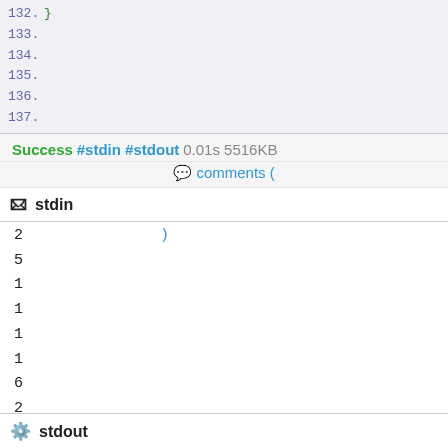132.  }
133.
134.
135.
136.
137.
Success #stdin #stdout 0.01s 5516KB
💬 comments (
stdin
)
2
5
1
1
1
1
6
2
1
3
stdout